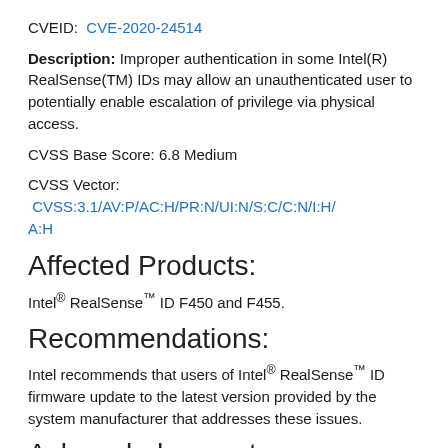CVEID: CVE-2020-24514
Description: Improper authentication in some Intel(R) RealSense(TM) IDs may allow an unauthenticated user to potentially enable escalation of privilege via physical access.
CVSS Base Score: 6.8 Medium
CVSS Vector: CVSS:3.1/AV:P/AC:H/PR:N/UI:N/S:C/C:N/I:H/A:H
Affected Products:
Intel® RealSense™ ID F450 and F455.
Recommendations:
Intel recommends that users of Intel® RealSense™ ID firmware update to the latest version provided by the system manufacturer that addresses these issues.
Acknowledgements:
These issues were found internally by Intel.